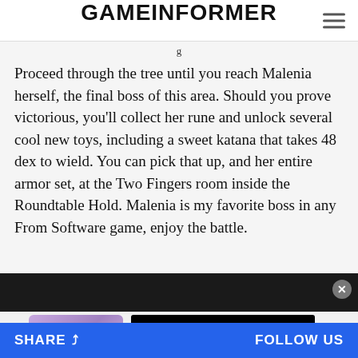GAMEINFORMER
Proceed through the tree until you reach Malenia herself, the final boss of this area. Should you prove victorious, you'll collect her rune and unlock several cool new toys, including a sweet katana that takes 48 dex to wield. You can pick that up, and her entire armor set, at the Two Fingers room inside the Roundtable Hold. Malenia is my favorite boss in any From Software game, enjoy the battle.
[Figure (screenshot): Advertisement banner with animated character and video content block]
SHARE   FOLLOW US